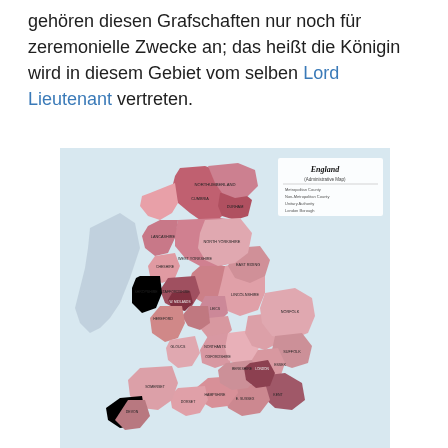gehören diesen Grafschaften nur noch für zeremonielle Zwecke an; das heißt die Königin wird in diesem Gebiet vom selben Lord Lieutenant vertreten.
[Figure (map): Administrative map of England showing counties and regions in varying shades of pink and dark red/maroon, with county names labeled. Title reads 'England (Administrative Map)' in top right corner with a legend.]